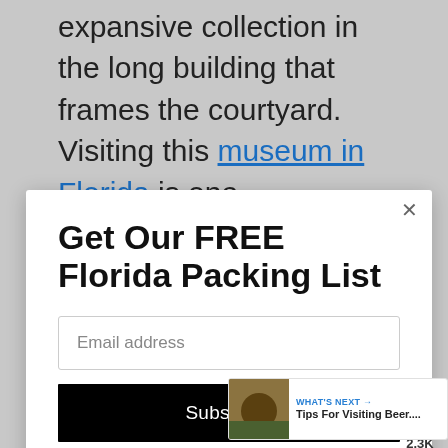expansive collection in the long building that frames the courtyard. Visiting this museum in Florida is one
[Figure (screenshot): Modal popup with title 'Get Our FREE Florida Packing List', an email address input field, and a black Subscribe button]
college students. Reduced entrance rates are offered on Thursdays between 5 PM – 8 PM.